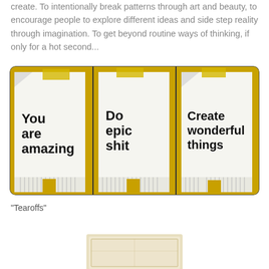create. To intentionally break patterns through art and beauty, to encourage people to explore different ideas and side step reality through imagination. To get beyond routine ways of thinking, if only for a hot second...
[Figure (photo): Three side-by-side photos of yellow manila folders/binders each containing a white sheet of paper with bold black text. Left: 'You are amazing', Middle: 'Do epic shit', Right: 'Create wonderful things'. Bottom of each shows shredded paper strips.]
“Tearoffs”
[Figure (photo): Partial view of a vintage postcard or photograph at the bottom of the page, cream/beige colored.]